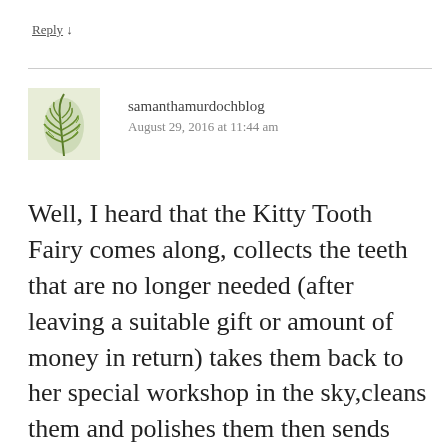Reply ↓
samanthamurdochblog
August 29, 2016 at 11:44 am
Well, I heard that the Kitty Tooth Fairy comes along, collects the teeth that are no longer needed (after leaving a suitable gift or amount of money in return) takes them back to her special workshop in the sky,cleans them and polishes them then sends them back to all the new little kittens that are waiting to get their first teeth...or so